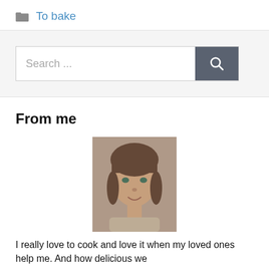To bake
[Figure (screenshot): Search bar with text placeholder 'Search ...' and a dark search button with magnifying glass icon]
From me
[Figure (photo): Portrait photo of a young woman with brown hair and bangs, looking at the camera]
I really love to cook and love it when my loved ones help me. And how delicious we